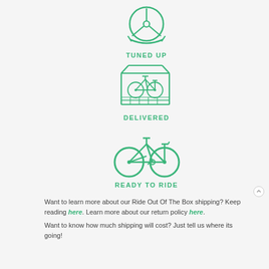[Figure (illustration): Green icon of a bicycle wheel/steering wheel with 3 spokes and a center circle, representing 'tuned up']
TUNED UP
[Figure (illustration): Green icon of a bicycle inside a rectangular box/crate, representing 'delivered']
DELIVERED
[Figure (illustration): Green icon of a bicycle, representing 'ready to ride']
READY TO RIDE
Want to learn more about our Ride Out Of The Box shipping? Keep reading here. Learn more about our return policy here.
Want to know how much shipping will cost? Just tell us where its going!